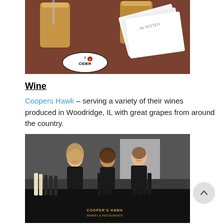[Figure (photo): Close-up photo of two plastic cups of light golden cider on a red/brown table, with a circular 'I Love Cider' sticker coaster visible, and white papers/booklets with 'The Mitten' branding in the background.]
Wine
Coopers Hawk – serving a variety of their wines produced in Woodridge, IL with great grapes from around the country.
[Figure (photo): Photo of three young people (two women and one man) standing behind a table at a tasting booth. The table is covered with a black tablecloth bearing the Cooper's Hawk Winery & Restaurants logo and is filled with many bottles of wine. They are all wearing black shirts and smiling.]